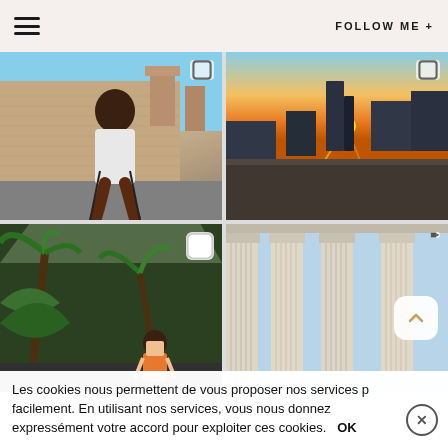☰  FOLLOW ME +
[Figure (photo): Woman in white shirt and denim skirt sitting on a rooftop chair with brick chimneys in background, sunny day]
[Figure (photo): Sunset cityscape with city skyline silhouette and golden sun flare, rooftop view]
[Figure (photo): Woman in orange top posing among tropical palm trees and plants in an outdoor garden/courtyard]
[Figure (photo): Close-up of white neoclassical building columns with blue sky in background, video overlay icon]
Les cookies nous permettent de vous proposer nos services p facilement. En utilisant nos services, vous nous donnez expressément votre accord pour exploiter ces cookies.   OK